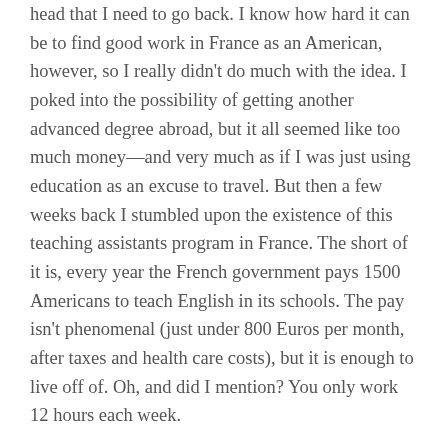head that I need to go back. I know how hard it can be to find good work in France as an American, however, so I really didn't do much with the idea. I poked into the possibility of getting another advanced degree abroad, but it all seemed like too much money—and very much as if I was just using education as an excuse to travel. But then a few weeks back I stumbled upon the existence of this teaching assistants program in France. The short of it is, every year the French government pays 1500 Americans to teach English in its schools. The pay isn't phenomenal (just under 800 Euros per month, after taxes and health care costs), but it is enough to live off of. Oh, and did I mention? You only work 12 hours each week.
I missed the deadline for the 2011 program, but I plan on applying for 2012. It would mean starting